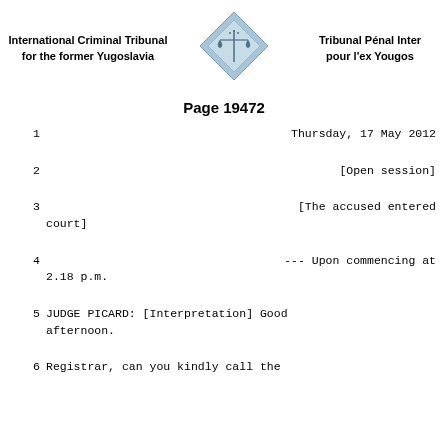International Criminal Tribunal for the former Yugoslavia | Tribunal Pénal Inter pour l'ex Yougos
Page 19472
1                                    Thursday, 17 May 2012
2                                    [Open session]
3                                    [The accused entered court]
4                                    --- Upon commencing at 2.18 p.m.
5          JUDGE PICARD: [Interpretation] Good afternoon.
6          Registrar, can you kindly call the